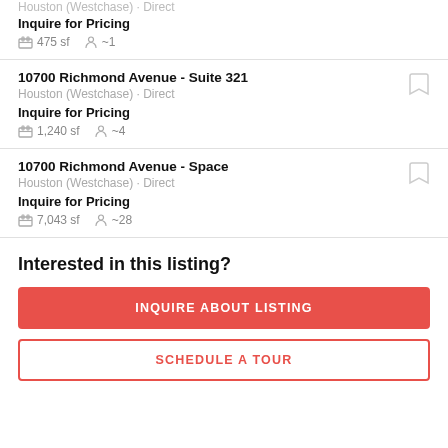Houston (Westchase) · Direct
Inquire for Pricing
475 sf  ~1
10700 Richmond Avenue - Suite 321
Houston (Westchase) · Direct
Inquire for Pricing
1,240 sf  ~4
10700 Richmond Avenue - Space
Houston (Westchase) · Direct
Inquire for Pricing
7,043 sf  ~28
Interested in this listing?
INQUIRE ABOUT LISTING
SCHEDULE A TOUR